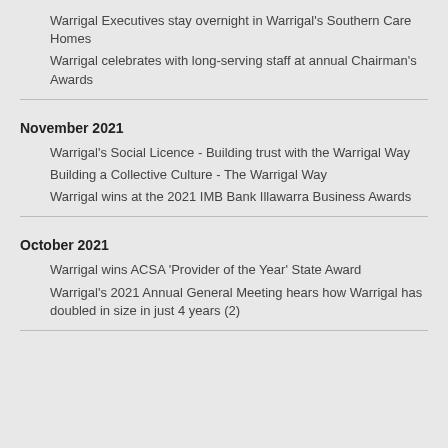Warrigal Executives stay overnight in Warrigal's Southern Care Homes
Warrigal celebrates with long-serving staff at annual Chairman's Awards
November 2021
Warrigal's Social Licence - Building trust with the Warrigal Way
Building a Collective Culture - The Warrigal Way
Warrigal wins at the 2021 IMB Bank Illawarra Business Awards
October 2021
Warrigal wins ACSA 'Provider of the Year' State Award
Warrigal's 2021 Annual General Meeting hears how Warrigal has doubled in size in just 4 years (2)